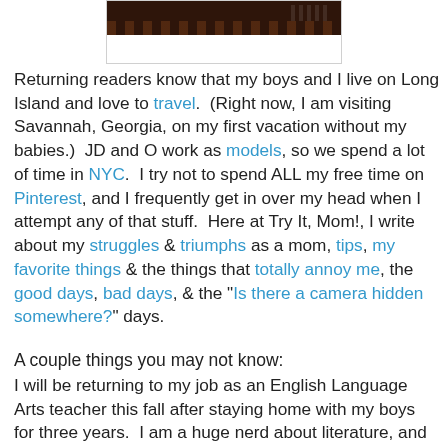[Figure (photo): Partial image of a dark brown patterned fabric or object at the top of the page, cut off]
Returning readers know that my boys and I live on Long Island and love to travel.  (Right now, I am visiting Savannah, Georgia, on my first vacation without my babies.)  JD and O work as models, so we spend a lot of time in NYC.  I try not to spend ALL my free time on Pinterest, and I frequently get in over my head when I attempt any of that stuff.  Here at Try It, Mom!, I write about my struggles & triumphs as a mom, tips, my favorite things & the things that totally annoy me, the good days, bad days, & the "Is there a camera hidden somewhere?" days.
A couple things you may not know:
I will be returning to my job as an English Language Arts teacher this fall after staying home with my boys for three years.  I am a huge nerd about literature, and as I write this, I am sitting in Monterey Square pretending I am John Berendt.  Ideas for my next big adventure, an epic Hemingway tour